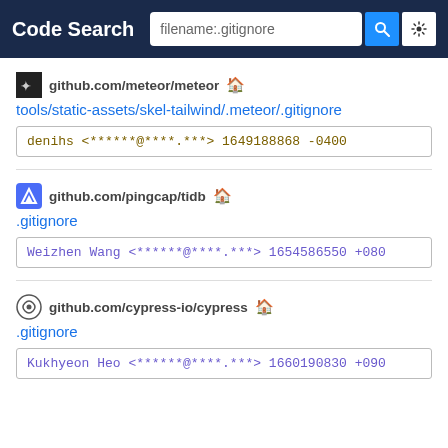Code Search — filename:.gitignore
github.com/meteor/meteor
tools/static-assets/skel-tailwind/.meteor/.gitignore
denihs <******@****.***> 1649188868 -0400
github.com/pingcap/tidb
.gitignore
Weizhen Wang <******@****.***> 1654586550 +080
github.com/cypress-io/cypress
.gitignore
Kukhyeon Heo <******@****.***> 1660190830 +090